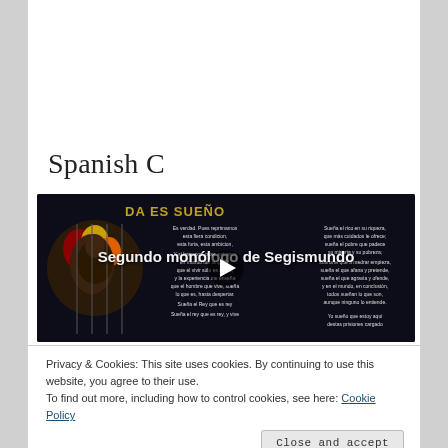Spanish C
[Figure (screenshot): Video thumbnail showing 'Segundo monólogo de Segismundo' with Spanish poetry text overlay on dark background featuring a man behind bars, with a play button in the center.]
Privacy & Cookies: This site uses cookies. By continuing to use this website, you agree to their use.
To find out more, including how to control cookies, see here: Cookie Policy
Close and accept